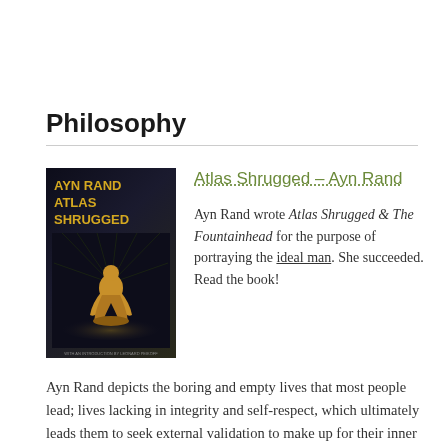Philosophy
[Figure (photo): Book cover of Atlas Shrugged by Ayn Rand showing the title in gold text on a dark background with a figure illustration]
Atlas Shrugged – Ayn Rand
Ayn Rand wrote Atlas Shrugged & The Fountainhead for the purpose of portraying the ideal man. She succeeded. Read the book!
Ayn Rand depicts the boring and empty lives that most people lead; lives lacking in integrity and self-respect, which ultimately leads them to seek external validation to make up for their inner emptiness.